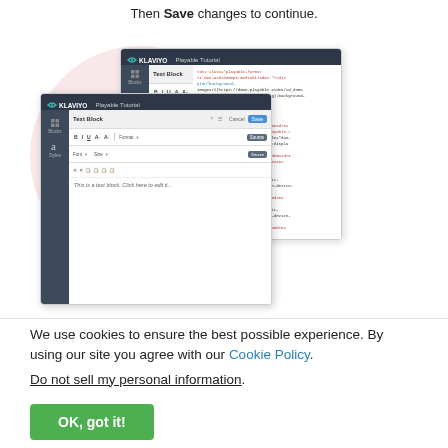Then Save changes to continue.
[Figure (screenshot): Klaviyo Playable Tutorial interface showing Text Block editor with toolbar and HTML source code panel visible, with pink blob background]
We use cookies to ensure the best possible experience. By using our site you agree with our Cookie Policy. Do not sell my personal information.
OK, got it!